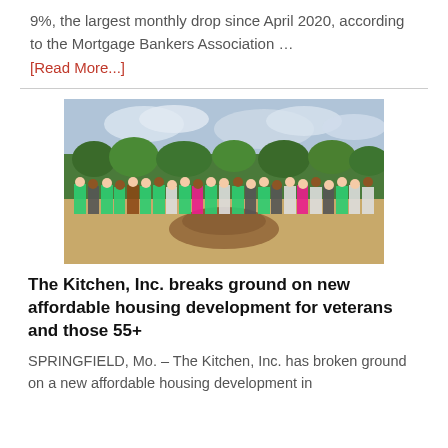9%, the largest monthly drop since April 2020, according to the Mortgage Bankers Association …
[Read More...]
[Figure (photo): Group of people posing at a groundbreaking ceremony on a dirt field with trees in the background, some wearing green shirts and holding signs.]
The Kitchen, Inc. breaks ground on new affordable housing development for veterans and those 55+
SPRINGFIELD, Mo. – The Kitchen, Inc. has broken ground on a new affordable housing development in